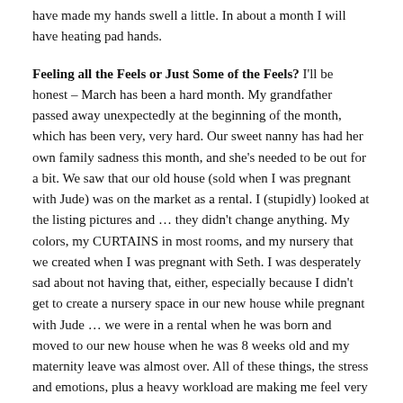have made my hands swell a little. In about a month I will have heating pad hands.
Feeling all the Feels or Just Some of the Feels? I'll be honest – March has been a hard month. My grandfather passed away unexpectedly at the beginning of the month, which has been very, very hard. Our sweet nanny has had her own family sadness this month, and she's needed to be out for a bit. We saw that our old house (sold when I was pregnant with Jude) was on the market as a rental. I (stupidly) looked at the listing pictures and … they didn't change anything. My colors, my CURTAINS in most rooms, and my nursery that we created when I was pregnant with Seth. I was desperately sad about not having that, either, especially because I didn't get to create a nursery space in our new house while pregnant with Jude … we were in a rental when he was born and moved to our new house when he was 8 weeks old and my maternity leave was almost over. All of these things, the stress and emotions, plus a heavy workload are making me feel very drained and emotional now at the end of the month.
Weekly Wisdom: Don't look at listing pictures of your old house when a) you loved your old house, b) you haven't been out of it long, and c) you don't feel fully at home in your new house. Just don't.